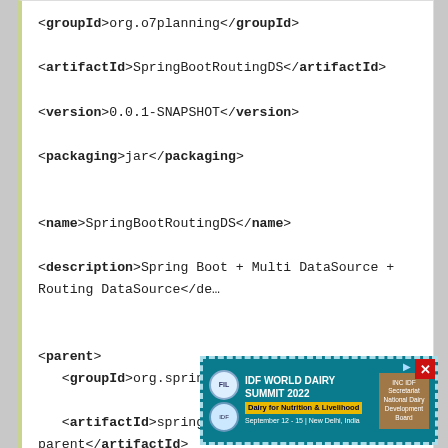<groupId>org.o7planning</groupId>
<artifactId>SpringBootRoutingDS</artifactId>
<version>0.0.1-SNAPSHOT</version>
<packaging>jar</packaging>
<name>SpringBootRoutingDS</name>
<description>Spring Boot + Multi DataSource + Routing DataSource</description>
<parent>
<groupId>org.springframework.boot</groupId>
<artifactId>spring-boot-starter-parent</artifactId>
<version>2.0.0.RELEASE</version>
<relativePath/> <!-- lookup parent from repository -->
</parent>
<properties>
<proj...eEncode...
<proj...ng.outpu...
<java...
</prope...
[Figure (screenshot): IDF World Dairy Summit 2022 advertisement banner with teal background and dashed border]